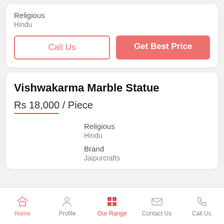Religious
Hindu
Call Us
Get Best Price
Vishwakarma Marble Statue
Rs 18,000 / Piece
Religious
Hindu
Brand
Jaipurcrafts
Home   Profile   Our Range   Contact Us   Call Us